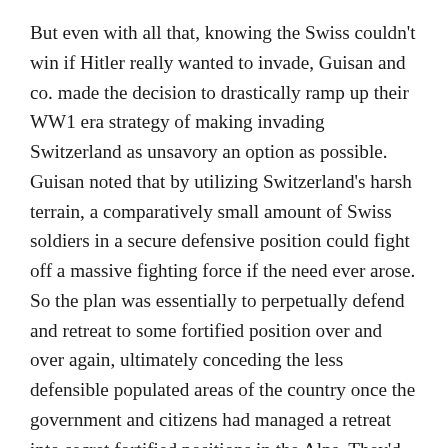But even with all that, knowing the Swiss couldn't win if Hitler really wanted to invade, Guisan and co. made the decision to drastically ramp up their WW1 era strategy of making invading Switzerland as unsavory an option as possible. Guisan noted that by utilizing Switzerland's harsh terrain, a comparatively small amount of Swiss soldiers in a secure defensive position could fight off a massive fighting force if the need ever arose. So the plan was essentially to perpetually defend and retreat to some fortified position over and over again, ultimately conceding the less defensible populated areas of the country once the government and citizens had managed a retreat into secret fortified positions in the Alps. They'd then use the Alps as a base from which to both launch guerrilla attacks to make life miserable for any successful invasion force and to use highly defensible positions there to keep crucial supply lines